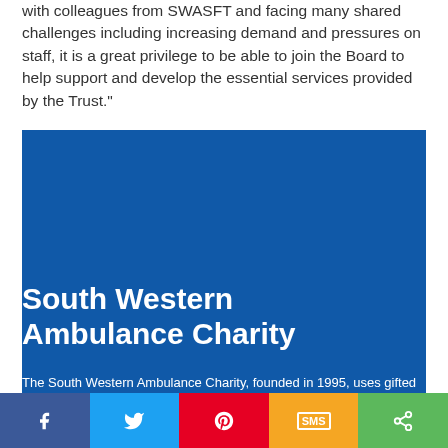with colleagues from SWASFT and facing many shared challenges including increasing demand and pressures on staff, it is a great privilege to be able to join the Board to help support and develop the essential services provided by the Trust."
[Figure (infographic): Blue banner with South Western Ambulance Charity title and descriptive text]
South Western Ambulance Charity
The South Western Ambulance Charity, founded in 1995, uses gifted monies to benefit those in our communities
[Figure (infographic): Social share bar with Facebook, Twitter, Pinterest, SMS, and share buttons]